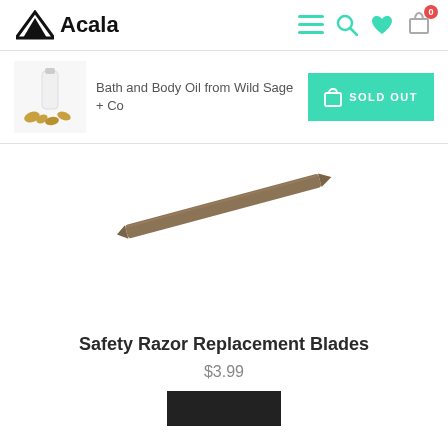Acala
[Figure (screenshot): Product notification bar showing Bath and Body Oil from Wild Sage + Co with a small product thumbnail and a teal SOLD OUT button]
[Figure (photo): Safety razor replacement blade product image - dark metal blade at angle on white background]
Safety Razor Replacement Blades
$3.99